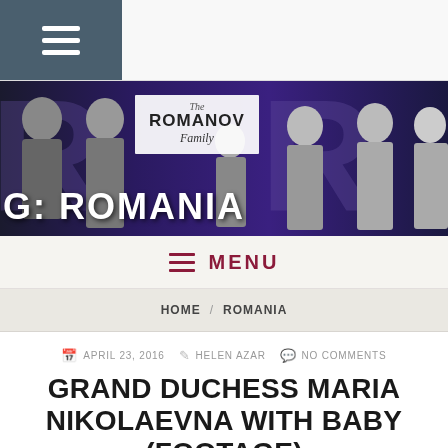[Figure (screenshot): Website header with hamburger menu icon on dark teal background on the left, rest of header is white/light gray]
[Figure (photo): Banner image showing The Romanov Family - black and white photos of Nicholas II and family members against purple/navy background with large text 'G: ROMANIA' overlaid at bottom]
MENU
HOME / ROMANIA
APRIL 23, 2016  HELEN AZAR  NO COMMENTS
GRAND DUCHESS MARIA NIKOLAEVNA WITH BABY (FOOTAGE)